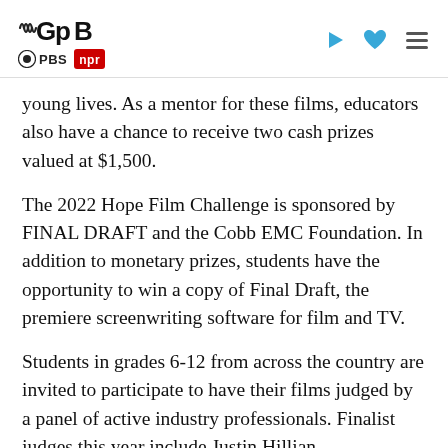GPB | PBS | NPR
young lives. As a mentor for these films, educators also have a chance to receive two cash prizes valued at $1,500.
The 2022 Hope Film Challenge is sponsored by FINAL DRAFT and the Cobb EMC Foundation. In addition to monetary prizes, students have the opportunity to win a copy of Final Draft, the premiere screenwriting software for film and TV.
Students in grades 6-12 from across the country are invited to participate to have their films judged by a panel of active industry professionals. Finalist judges this year include Justin Hillian (Showrunner, SHOWTIME's "The Chi"); Rachel Axler (Writer, four-time Emmy Winner for "Veep," "The Daily Show"); Marion Dayre (Showrunner, MARVEL's "Echo"; Writer, "Better Call Saul"); and Christopher Escobar (Executive Director, Atlanta Film Festival). Deadline